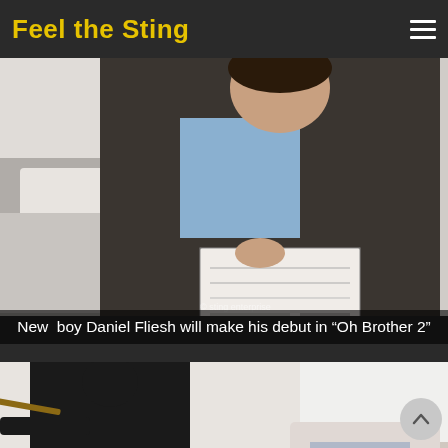Feel the Sting
[Figure (photo): A person in dark clothing sitting on a bed reading a comic book or magazine, in a room with white walls and a metal bed frame.]
New  boy Daniel Fliesh will make his debut in “Oh Brother 2”
[Figure (photo): A scene showing a person in black holding a cane extended, with another person bent over a stool, with text overlay reading 'In Production & coming soon OH CHRONICLES 2' and a Sting logo.]